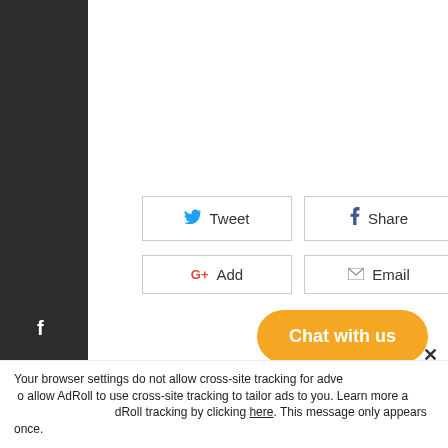[Figure (other): Dark sidebar with social media icons: Facebook, Twitter, Pinterest, Telegram/send]
[Figure (other): Social sharing buttons: Tweet (Twitter), Share (Facebook), Pin It (Pinterest) on first row; G+ Add (Google Plus), Email on second row]
ALSO IN CHRISTINE'S TRAVEL BLOG
[Figure (other): Orange rounded chat button labeled 'Chat with us']
Your browser settings do not allow cross-site tracking for advertising. Tap here to allow AdRoll to use cross-site tracking to tailor ads to you. Learn more at adroll.com. Allow AdRoll tracking by clicking here. This message only appears once.